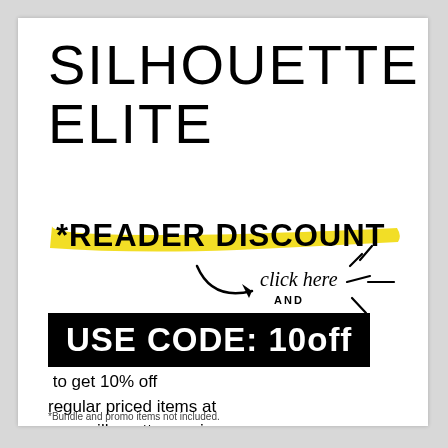SILHOUETTE ELITE
[Figure (infographic): *READER DISCOUNT with yellow highlighter brush stroke background, arrow pointing to 'click here AND' text with starburst lines]
USE CODE: 10off
to get 10% off regular priced items at www.silhouetteamerica.com
*Bundle and promo items not included.